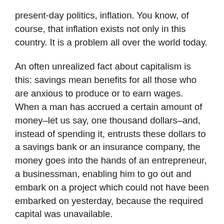present-day politics, inflation. You know, of course, that inflation exists not only in this country. It is a problem all over the world today.
An often unrealized fact about capitalism is this: savings mean benefits for all those who are anxious to produce or to earn wages. When a man has accrued a certain amount of money–let us say, one thousand dollars–and, instead of spending it, entrusts these dollars to a savings bank or an insurance company, the money goes into the hands of an entrepreneur, a businessman, enabling him to go out and embark on a project which could not have been embarked on yesterday, because the required capital was unavailable.
What will the businessman do now with the additional capital? The first thing he must do, the first use he will make of this additional capital, is to go out and hire workers and buy raw materials–in turn causing a further demand for workers and raw materials to develop, as well